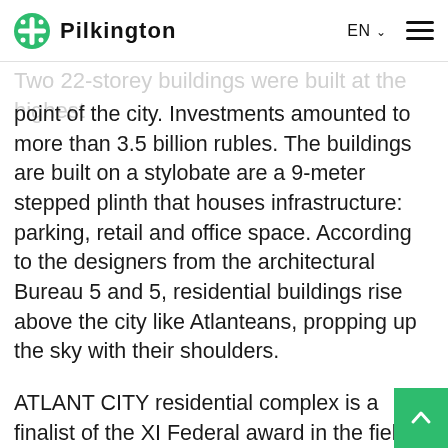Pilkington | EN
Two 22-storey buildings were built at the highest point of the city. Investments amounted to more than 3.5 billion rubles. The buildings are built on a stylobate are a 9-meter stepped plinth that houses infrastructure: parking, retail and office space. According to the designers from the architectural Bureau 5 and 5, residential buildings rise above the city like Atlanteans, propping up the sky with their shoulders.
ATLANT CITY residential complex is a finalist of the XI Federal award in the field of urban real estate Urban Awards 2019 in the categories "Best regional elite-class residential complex under construction" and "Regional complex of the year with the best architecture".